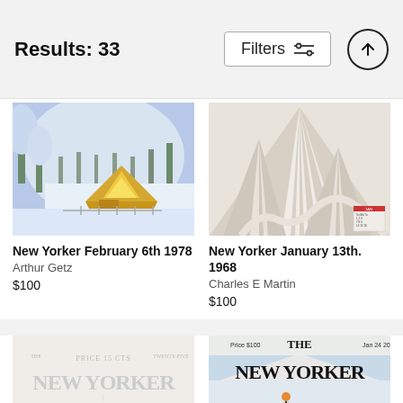Results: 33
Filters
[Figure (illustration): New Yorker cover illustration: A-frame cabin in snowy winter forest with yellow glowing interior, trees covered in snow, by Arthur Getz]
New Yorker February 6th 1978
Arthur Getz
$100
[Figure (illustration): New Yorker cover illustration: Aerial view of ski mountain trails with snow-covered slopes, by Charles E Martin]
New Yorker January 13th. 1968
Charles E Martin
$100
[Figure (illustration): New Yorker cover: faded/blank white cover with THE NEW YORKER text]
[Figure (illustration): New Yorker cover: THE NEW YORKER with skiing scene, Price $100, Jan 24 2000]